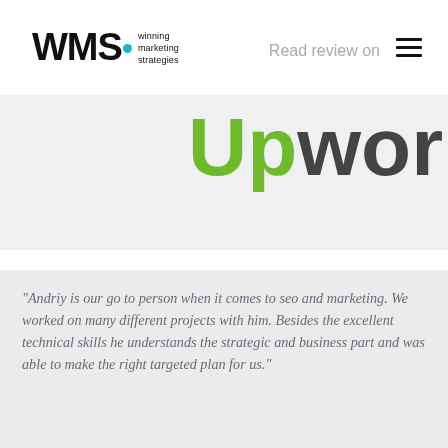WMS. winning marketing strategies
Read review on
[Figure (logo): Upwork logo with green 'Up' and dark 'work' text in large bold font]
“Andriy is our go to person when it comes to seo and marketing. We worked on many different projects with him. Besides the excellent technical skills he understands the strategic and business part and was able to make the right targeted plan for us.”